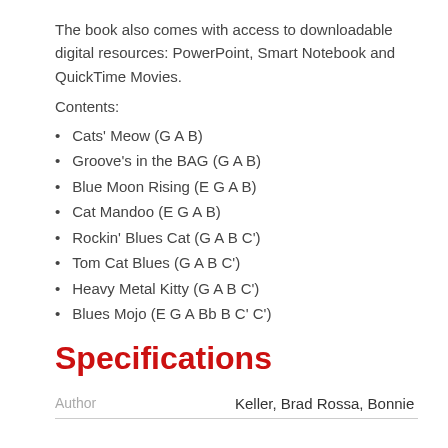The book also comes with access to downloadable digital resources: PowerPoint, Smart Notebook and QuickTime Movies.
Contents:
Cats' Meow (G A B)
Groove's in the BAG (G A B)
Blue Moon Rising (E G A B)
Cat Mandoo (E G A B)
Rockin' Blues Cat (G A B C')
Tom Cat Blues (G A B C')
Heavy Metal Kitty (G A B C')
Blues Mojo (E G A Bb B C' C')
Specifications
| Author |  |
| --- | --- |
| Author | Keller, Brad Rossa, Bonnie |